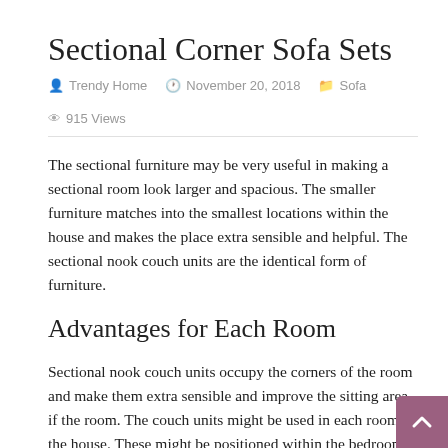Sectional Corner Sofa Sets
Trendy Home   November 20, 2018   Sofa   915 Views
The sectional furniture may be very useful in making a sectional room look larger and spacious. The smaller furniture matches into the smallest locations within the house and makes the place extra sensible and helpful. The sectional nook couch units are the identical form of furniture.
Advantages for Each Room
Sectional nook couch units occupy the corners of the room and make them extra sensible and improve the sitting area if the room. The couch units might be used in each room of the house. These might be positioned within the bedrooms and improve the sitting area within the room. They are often positioned within the dining rooms within the corners with sectional nook tables. This set up immediately impacts the onlookers. And is a technique of enhancing